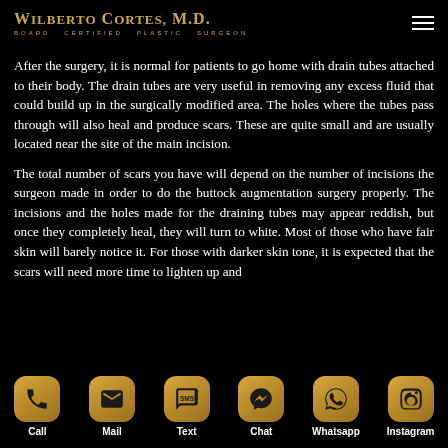Wilberto Cortes, M.D. Board Certified Plastic Surgeon
After the surgery, it is normal for patients to go home with drain tubes attached to their body. The drain tubes are very useful in removing any excess fluid that could build up in the surgically modified area. The holes where the tubes pass through will also heal and produce scars. These are quite small and are usually located near the site of the main incision.
The total number of scars you have will depend on the number of incisions the surgeon made in order to do the buttock augmentation surgery properly. The incisions and the holes made for the draining tubes may appear reddish, but once they completely heal, they will turn to white. Most of those who have fair skin will barely notice it. For those with darker skin tone, it is expected that the scars will need more time to lighten up and
Call  Mail  Text  Chat  Whatsapp  Instagram